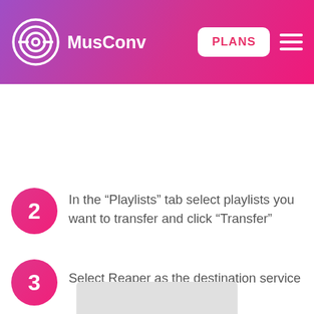MusConv | PLANS
2 In the “Playlists” tab select playlists you want to transfer and click “Transfer”
3 Select Reaper as the destination service
[Figure (screenshot): Partial screenshot of MusConv application interface at the bottom of the page]